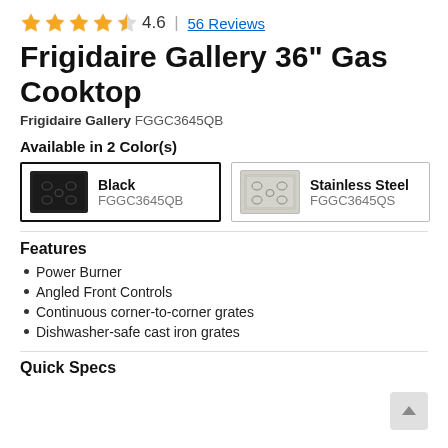[Figure (other): Star rating: 4.6 out of 5 stars with 56 reviews link]
Frigidaire Gallery 36" Gas Cooktop
Frigidaire Gallery FGGC3645QB
Available in 2 Color(s)
[Figure (other): Color option: Black (FGGC3645QB) — selected, shown with black cooktop thumbnail]
[Figure (other): Color option: Stainless Steel (FGGC3645QS) — shown with stainless cooktop thumbnail]
Features
Power Burner
Angled Front Controls
Continuous corner-to-corner grates
Dishwasher-safe cast iron grates
Quick Specs